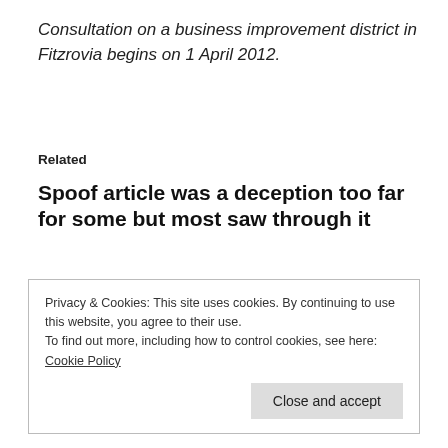Consultation on a business improvement district in Fitzrovia begins on 1 April 2012.
Related
Spoof article was a deception too far for some but most saw through it
7:00 pm, Sunday, 1 April 2012
In "Fitzrovia"
Privacy & Cookies: This site uses cookies. By continuing to use this website, you agree to their use. To find out more, including how to control cookies, see here: Cookie Policy
Close and accept